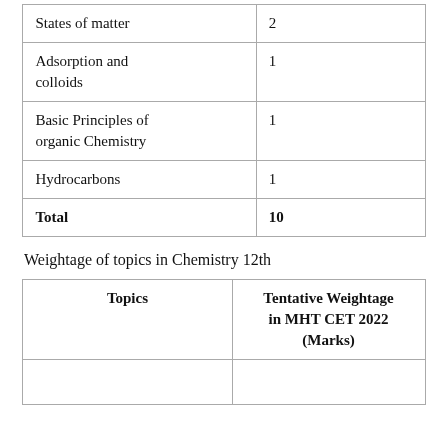| Topics (partial) | Tentative Weightage (Marks) |
| --- | --- |
| States of matter | 2 |
| Adsorption and colloids | 1 |
| Basic Principles of organic Chemistry | 1 |
| Hydrocarbons | 1 |
| Total | 10 |
Weightage of topics in Chemistry 12th
| Topics | Tentative Weightage in MHT CET 2022 (Marks) |
| --- | --- |